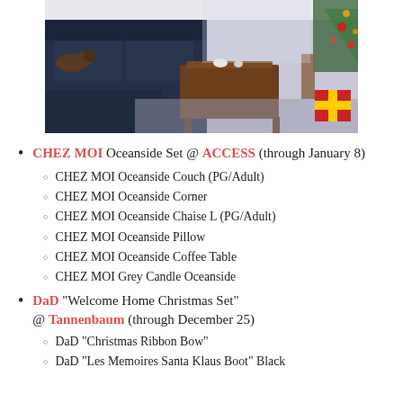[Figure (photo): Interior photo showing a dark navy sectional sofa with a small dog, a wooden coffee table, a patterned rug, and Christmas decorations in the corner]
CHEZ MOI Oceanside Set @ ACCESS (through January 8)
CHEZ MOI Oceanside Couch (PG/Adult)
CHEZ MOI Oceanside Corner
CHEZ MOI Oceanside Chaise L (PG/Adult)
CHEZ MOI Oceanside Pillow
CHEZ MOI Oceanside Coffee Table
CHEZ MOI Grey Candle Oceanside
DaD "Welcome Home Christmas Set" @ Tannenbaum (through December 25)
DaD "Christmas Ribbon Bow"
DaD "Les Memoires Santa Klaus Boot" Black